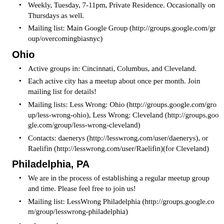Weekly, Tuesday, 7-11pm, Private Residence. Occasionally on Thursdays as well.
Mailing list: Main Google Group (http://groups.google.com/group/overcomingbiasnyc)
Ohio
Active groups in: Cincinnati, Columbus, and Cleveland.
Each active city has a meetup about once per month. Join mailing list for details!
Mailing lists: Less Wrong: Ohio (http://groups.google.com/group/less-wrong-ohio), Less Wrong: Cleveland (http://groups.google.com/group/less-wrong-cleveland)
Contacts: daenerys (http://lesswrong.com/user/daenerys), or Raelifin (http://lesswrong.com/user/Raelifin)(for Cleveland)
Philadelphia, PA
We are in the process of establishing a regular meetup group and time. Please feel free to join us!
Mailing list: LessWrong Philadelphia (http://groups.google.com/group/lesswrong-philadelphia)
Pittsburgh, PA